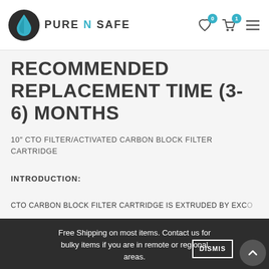PURE N SAFE
RECOMMENDED REPLACEMENT TIME (3-6) MONTHS
10″ CTO FILTER/ACTIVATED CARBON BLOCK FILTER CARTRIDGE
INTRODUCTION:
CTO CARBON BLOCK FILTER CARTRIDGE IS EXTRUDED BY EXC...
OF DIFFERENT KINDS OF CARBON MATERIAL...
CARBON.IT CAN REMOVE REMAINING CHLORINE, BAL...
Free Shipping on most items. Contact us for bulky items if you are in remote or regional areas.